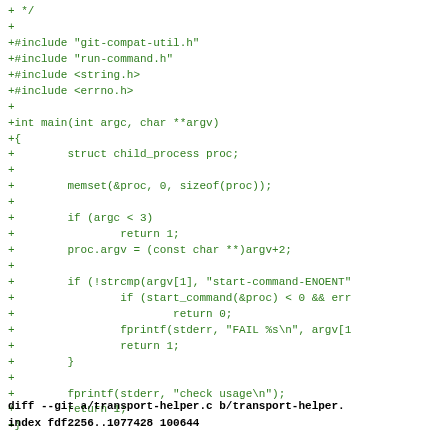+ */
+
+#include "git-compat-util.h"
+#include "run-command.h"
+#include <string.h>
+#include <errno.h>
+
+int main(int argc, char **argv)
+{
+        struct child_process proc;
+
+        memset(&proc, 0, sizeof(proc));
+
+        if (argc < 3)
+                return 1;
+        proc.argv = (const char **)argv+2;
+
+        if (!strcmp(argv[1], "start-command-ENOENT"
+                if (start_command(&proc) < 0 && err
+                        return 0;
+                fprintf(stderr, "FAIL %s\n", argv[1
+                return 1;
+        }
+
+        fprintf(stderr, "check usage\n");
+        return 1;
+}
diff --git a/transport-helper.c b/transport-helper.
index fdf2256..1077428 100644